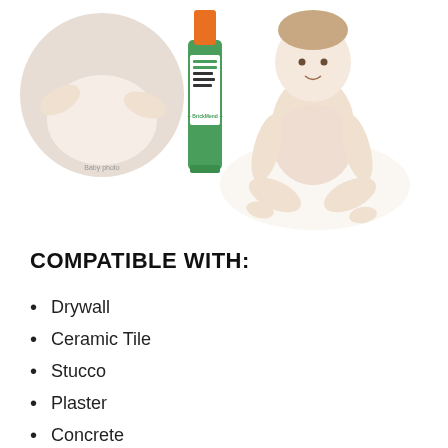[Figure (photo): Product photo showing a tube of wall repair compound (BrickMend brand, green and white packaging) and a baby sitting, with a circular inset of a baby]
COMPATIBLE WITH:
Drywall
Ceramic Tile
Stucco
Plaster
Concrete
Stone Veneer
Brick